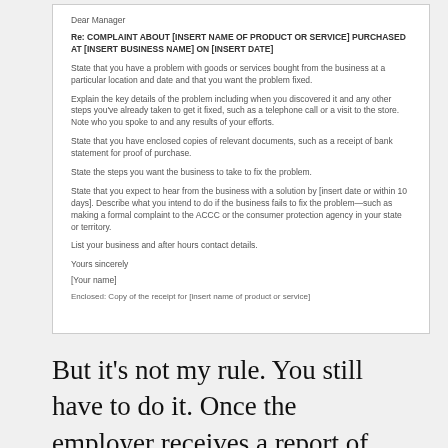Dear Manager
Re: COMPLAINT ABOUT [INSERT NAME OF PRODUCT OR SERVICE] PURCHASED AT [INSERT BUSINESS NAME] ON [INSERT DATE]
State that you have a problem with goods or services bought from the business at a particular location and date and that you want the problem fixed.
Explain the key details of the problem including when you discovered it and any other steps you've already taken to get it fixed, such as a telephone call or a visit to the store. Note who you spoke to and any results of your efforts.
State that you have enclosed copies of relevant documents, such as a receipt of bank statement for proof of purchase.
State the steps you want the business to take to fix the problem.
State that you expect to hear from the business with a solution by [insert date or within 10 days]. Describe what you intend to do if the business fails to fix the problem—such as making a formal complaint to the ACCC or the consumer protection agency in your state or territory.
List your business and after hours contact details.
Yours sincerely
[Your name]
Enclosed: Copy of the receipt for [insert name of product or service]
But it's not my rule. You still have to do it. Once the employer receives a report of discrimination or